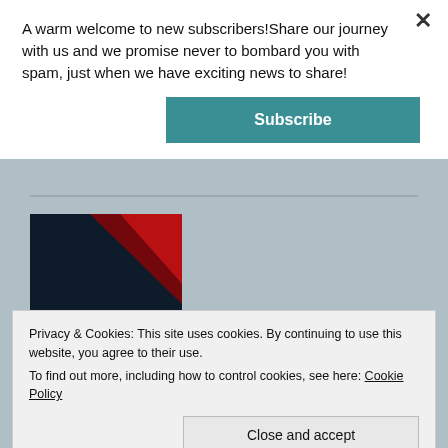A warm welcome to new subscribers!Share our journey with us and we promise never to bombard you with spam, just when we have exciting news to share!
Subscribe
[Figure (illustration): Book cover for 'The Scarlet Ribbon' with dark navy background and red ribbon in top corner, white serif text reading THE SCARLET RIBBON]
Privacy & Cookies: This site uses cookies. By continuing to use this website, you agree to their use.
To find out more, including how to control cookies, see here: Cookie Policy
Close and accept